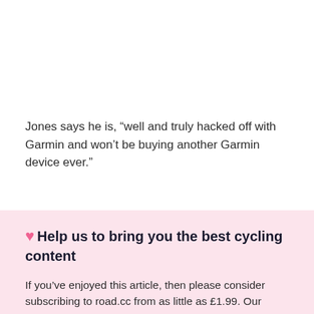Jones says he is, “well and truly hacked off with Garmin and won’t be buying another Garmin device ever.”
♥ Help us to bring you the best cycling content
If you’ve enjoyed this article, then please consider subscribing to road.cc from as little as £1.99. Our mission is to bring you all the news that’s relevant to you as a cyclist, independent reviews, impartial buying advice and more. Your subscription will help us to do more.